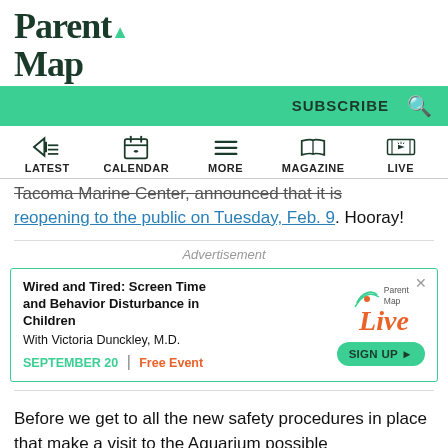ParentMap
SUBSCRIBE  🔍
LATEST  CALENDAR  MORE  MAGAZINE  LIVE
reopening to the public on Tuesday, Feb. 9. Hooray!
[Figure (other): Advertisement banner: Wired and Tired: Screen Time and Behavior Disturbance in Children. With Victoria Dunckley, M.D. SEPTEMBER 20 | Free Event. SIGN UP. ParentMap Live logo.]
Before we get to all the new safety procedures in place that make a visit to the Aquarium possible